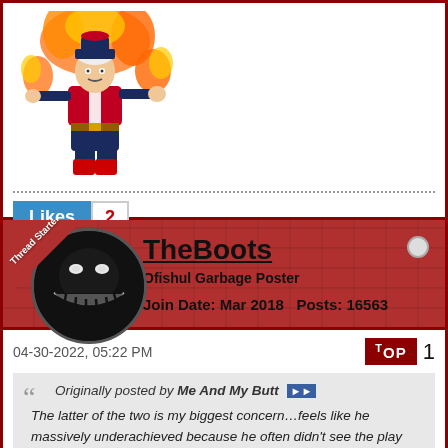[Figure (illustration): Character illustration of a flamboyant person in a red and blue outfit with flames.]
Likes 2
Thread Starter
TheBoots
Ofishul Garbage Poster
Join Date: Mar 2018   Posts: 16563
04-30-2022, 05:22 PM
Top 1
Originally posted by Me And My Butt
The latter of the two is my biggest concern…feels like he massively underachieved because he often didn't see the play until it was too,late. Not sure that's fixable going to a league where things happen even faster.